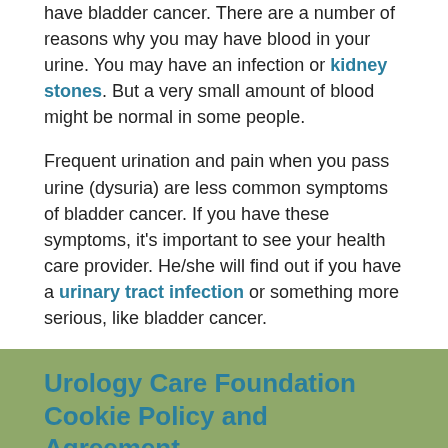have bladder cancer. There are a number of reasons why you may have blood in your urine. You may have an infection or kidney stones. But a very small amount of blood might be normal in some people.
Frequent urination and pain when you pass urine (dysuria) are less common symptoms of bladder cancer. If you have these symptoms, it's important to see your health care provider. He/she will find out if you have a urinary tract infection or something more serious, like bladder cancer.
Urology Care Foundation Cookie Policy and Agreement
We use cookies and other tracking technologies to improve your browsing experience on our website, to show you personalized content and targeted ads, to